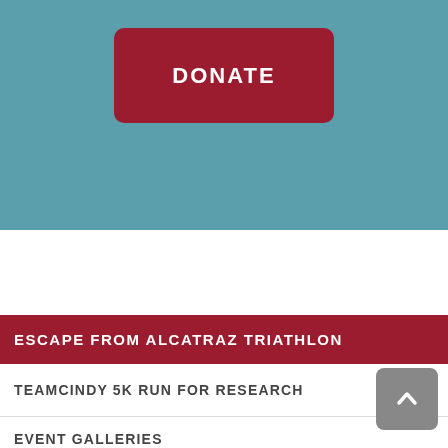[Figure (screenshot): Teal/blue banner background at the top of the page]
DONATE
ESCAPE FROM ALCATRAZ TRIATHLON
TEAMCINDY 5K RUN FOR RESEARCH
EVENT GALLERIES